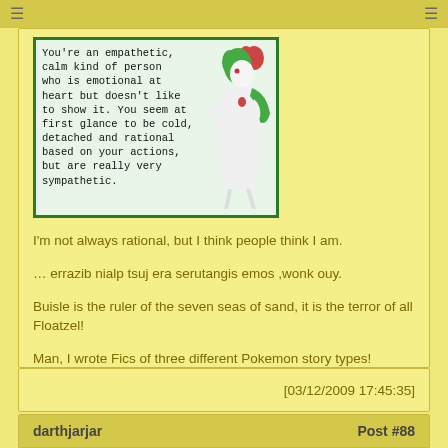≡  ≡
[Figure (illustration): Pokemon personality quiz result image showing Gardevoir with text: You're an empathetic, calm kind of person who is emotional at heart but doesn't like to show it. You seem at first glance to be cold, detached and rational based on your actions, but are really very sympathetic.]
I'm not always rational, but I think people think I am.
… errazib nialp tsuj era serutangis emos ,wonk ouy.
Buisle is the ruler of the seven seas of sand, it is the terror of all Floatzel!
Man, I wrote Fics of three different Pokemon story types! What's next?! A wild Pokemon fic?! Hmmmmm…
[03/12/2009 17:45:35]
darthjarjar   Post #88